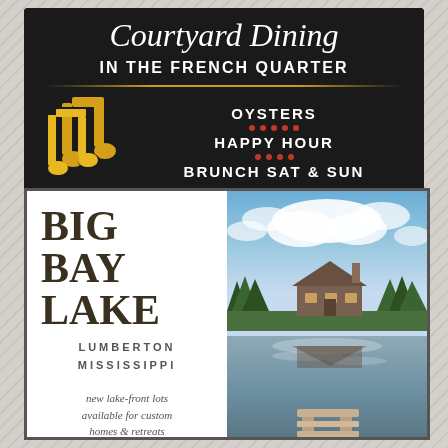[Figure (infographic): Courtyard Dining advertisement with black background, musical note icon, script title 'Courtyard Dining IN THE FRENCH QUARTER', listing OYSTERS, HAPPY HOUR, BRUNCH SAT & SUN with red dot separators]
[Figure (infographic): Big Bay Lake advertisement showing BIG BAY LAKE LUMBERTON MISSISSIPPI text on left with photo of lake cabin and dock on right. Bottom bar shows BIGBAYLAKE.COM and 1.877.4.BIGBAY]